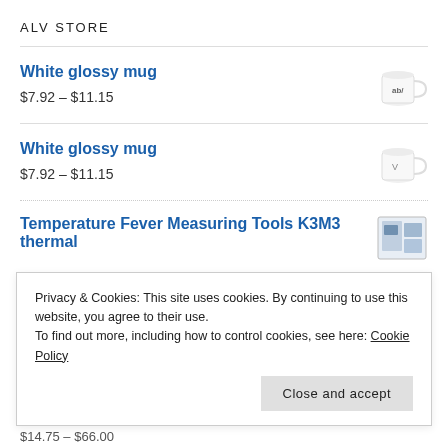ALV STORE
White glossy mug
$7.92 – $11.15
White glossy mug
$7.92 – $11.15
Temperature Fever Measuring Tools K3M3 thermal
Privacy & Cookies: This site uses cookies. By continuing to use this website, you agree to their use.
To find out more, including how to control cookies, see here: Cookie Policy
Close and accept
$14.75 – $66.00